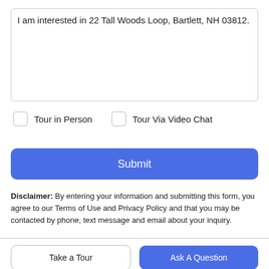I am interested in 22 Tall Woods Loop, Bartlett, NH 03812.
Tour in Person   Tour Via Video Chat
Submit
Disclaimer: By entering your information and submitting this form, you agree to our Terms of Use and Privacy Policy and that you may be contacted by phone, text message and email about your inquiry.
Take a Tour
Ask A Question